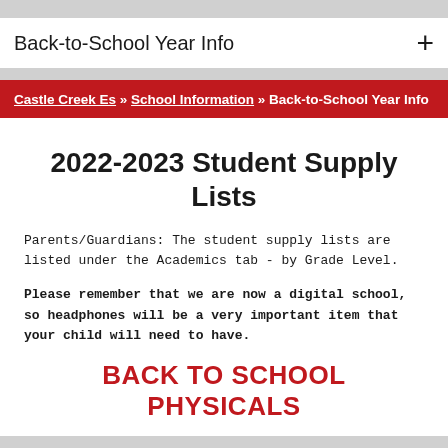Back-to-School Year Info
Castle Creek Es » School Information » Back-to-School Year Info
2022-2023 Student Supply Lists
Parents/Guardians: The student supply lists are listed under the Academics tab - by Grade Level.
Please remember that we are now a digital school, so headphones will be a very important item that your child will need to have.
BACK TO SCHOOL PHYSICALS